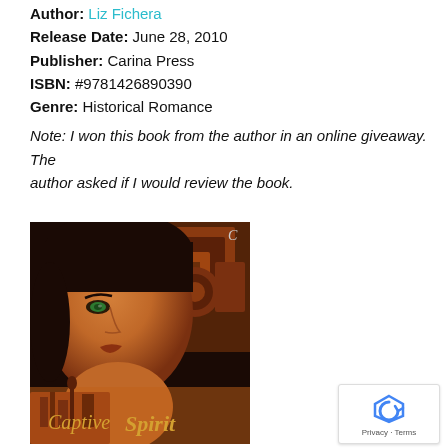Author: Liz Fichera
Release Date: June 28, 2010
Publisher: Carina Press
ISBN: #9781426890390
Genre: Historical Romance
Note: I won this book from the author in an online giveaway. The author asked if I would review the book.
[Figure (photo): Book cover for 'Captive Spirit' showing a woman's face with green eyes against a warm brown/orange background with decorative patterns, and the title 'Captive Spirit' in gold text at the bottom. Published by Carina Press.]